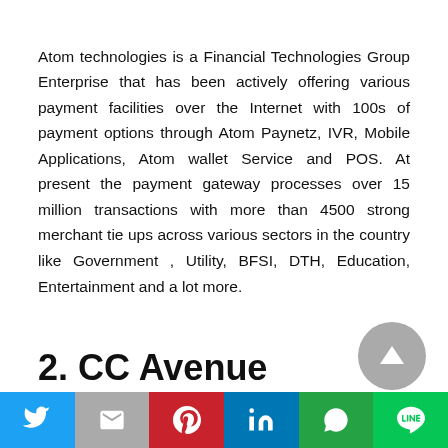Atom technologies is a Financial Technologies Group Enterprise that has been actively offering various payment facilities over the Internet with 100s of payment options through Atom Paynetz, IVR, Mobile Applications, Atom wallet Service and POS. At present the payment gateway processes over 15 million transactions with more than 4500 strong merchant tie ups across various sectors in the country like Government , Utility, BFSI, DTH, Education, Entertainment and a lot more.
2. CC Avenue
Social share bar with Twitter, Gmail, Pinterest, LinkedIn, WhatsApp, LINE